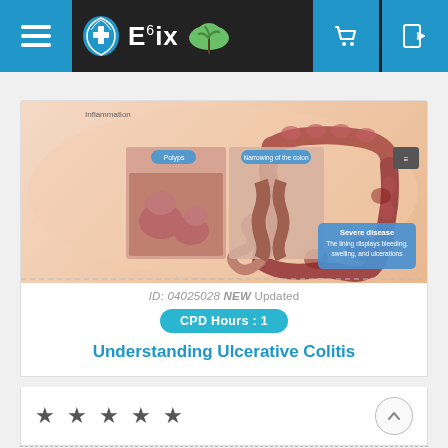Ebix navigation header with menu, logo, cart and login buttons
[Figure (illustration): Medical illustration of ulcerative colitis showing inflamed colon with labels: Inflammation, Polyps, Narrowing of the colon, Severe disease - The lining displays bleeding, swelling, and ulcerations]
ID: 04025028 NEW Updated
CPD Hours : 1
Understanding Ulcerative Colitis
★ ★ ★ ★ ★